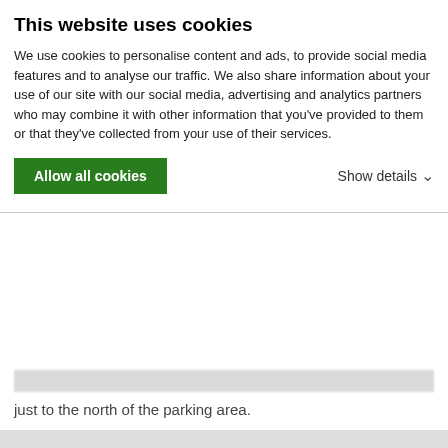This website uses cookies
We use cookies to personalise content and ads, to provide social media features and to analyse our traffic. We also share information about your use of our site with our social media, advertising and analytics partners who may combine it with other information that you've provided to them or that they've collected from your use of their services.
Allow all cookies | Show details
just to the north of the parking area.
Mt Egbert is acessed via the Appalachian trail either from the North or South. The "overlook" is south on the trail a short distance from the summit.